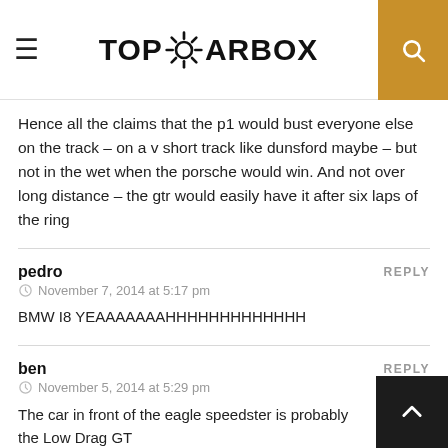TOPGEARBOX
Hence all the claims that the p1 would bust everyone else on the track – on a v short track like dunsford maybe – but not in the wet when the porsche would win. And not over long distance – the gtr would easily have it after six laps of the ring
pedro
November 7, 2014 at 5:17 pm
BMW I8 YEAAAAAAAHHHHHHHHHHHHH
ben
November 5, 2014 at 5:29 pm
The car in front of the eagle speedster is probably the Low Drag GT